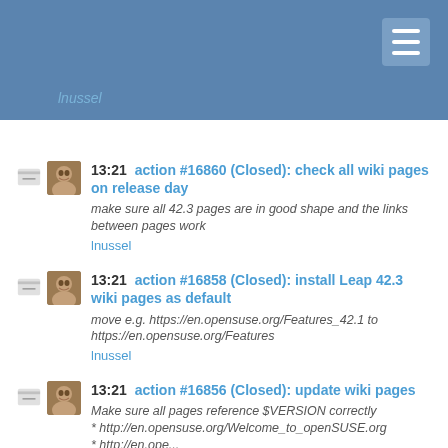lnussel
13:21 action #16860 (Closed): check all wiki pages on release day — make sure all 42.3 pages are in good shape and the links between pages work — lnussel
13:21 action #16858 (Closed): install Leap 42.3 wiki pages as default — move e.g. https://en.opensuse.org/Features_42.1 to https://en.opensuse.org/Features — lnussel
13:21 action #16856 (Closed): update wiki pages — Make sure all pages reference $VERSION correctly * http://en.opensuse.org/Welcome_to_openSUSE.org * http://en.ope... — lnussel
13:21 action #16854 (Closed): move previous release